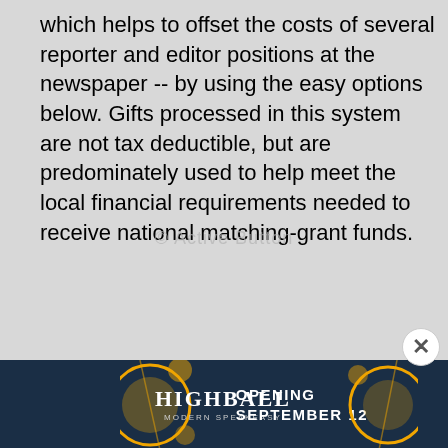which helps to offset the costs of several reporter and editor positions at the newspaper -- by using the easy options below. Gifts processed in this system are not tax deductible, but are predominately used to help meet the local financial requirements needed to receive national matching-grant funds.
[Figure (advertisement): Advertisement banner for HIGHBALL Modern Speakeasy, opening September 12. Dark blue background with orange circular decorative elements and cocktail imagery.]